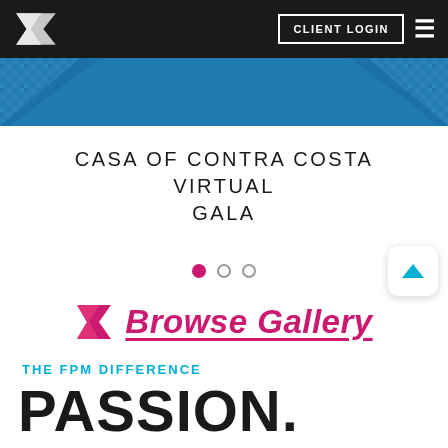CLIENT LOGIN
[Figure (screenshot): Website header with dark navbar containing FPM logo, CLIENT LOGIN button, and hamburger menu. Below is a blue decorative banner.]
CASA OF CONTRA COSTA VIRTUAL GALA
[Figure (illustration): Three navigation dots — one filled pink/magenta, two outlined gray — indicating a slideshow carousel position. A scroll-to-top button with a blue upward arrow is to the right.]
[Figure (logo): FPM logo (stylized F) followed by Browse Gallery text in bold italic magenta with underline.]
THE FPM DIFFERENCE
PASSION.